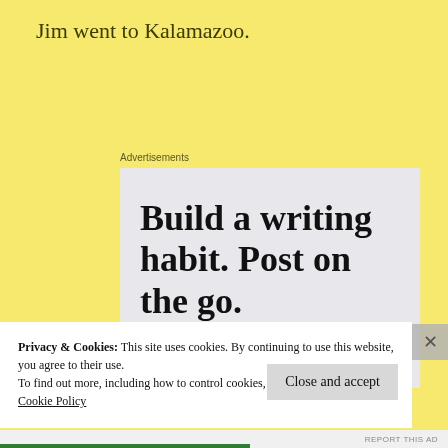Jim went to Kalamazoo.
Advertisements
[Figure (other): WordPress advertisement: 'Build a writing habit. Post on the go.' with GET THE APP call-to-action and WordPress logo]
Privacy & Cookies: This site uses cookies. By continuing to use this website, you agree to their use.
To find out more, including how to control cookies, see here:
Cookie Policy
Close and accept